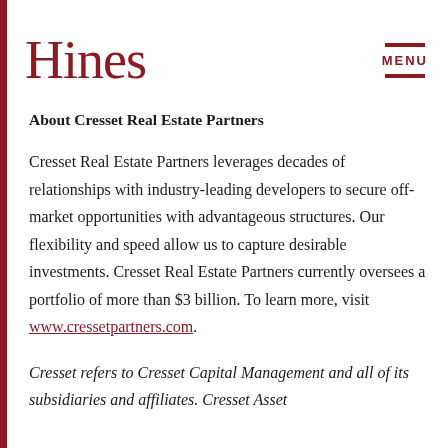Hines
About Cresset Real Estate Partners
Cresset Real Estate Partners leverages decades of relationships with industry-leading developers to secure off-market opportunities with advantageous structures. Our flexibility and speed allow us to capture desirable investments. Cresset Real Estate Partners currently oversees a portfolio of more than $3 billion. To learn more, visit www.cressetpartners.com.
Cresset refers to Cresset Capital Management and all of its subsidiaries and affiliates. Cresset Asset